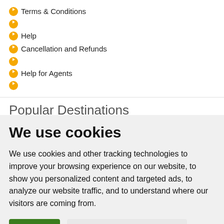Terms & Conditions
Help
Cancellation and Refunds
Help for Agents
Popular Destinations
Istanbul Turkey
We use cookies
We use cookies and other tracking technologies to improve your browsing experience on our website, to show you personalized content and targeted ads, to analyze our website traffic, and to understand where our visitors are coming from.
I agree   Change my preferences